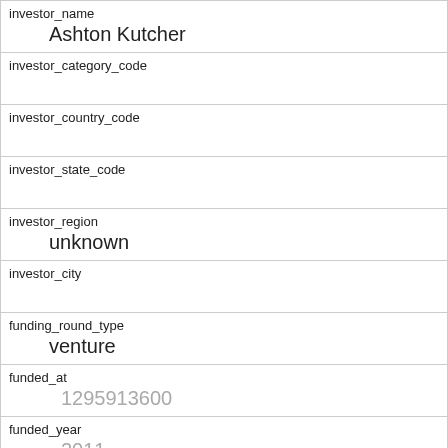| investor_name | Ashton Kutcher |
| investor_category_code |  |
| investor_country_code |  |
| investor_state_code |  |
| investor_region | unknown |
| investor_city |  |
| funding_round_type | venture |
| funded_at | 1295913600 |
| funded_year | 2011 |
| raised_amount_usd | 1500000 |
| gristHelper_Display2 |  |